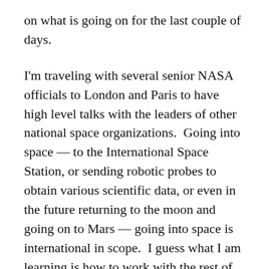on what is going on for the last couple of days.
I'm traveling with several senior NASA officials to London and Paris to have high level talks with the leaders of other national space organizations.  Going into space — to the International Space Station, or sending robotic probes to obtain various scientific data, or even in the future returning to the moon and going on to Mars — going into space is international in scope.  I guess what I am learning is how to work with the rest of the world.
Our first day was filled with meetings with the British government, both the executive side and the legislative side.  There is quite a bit of